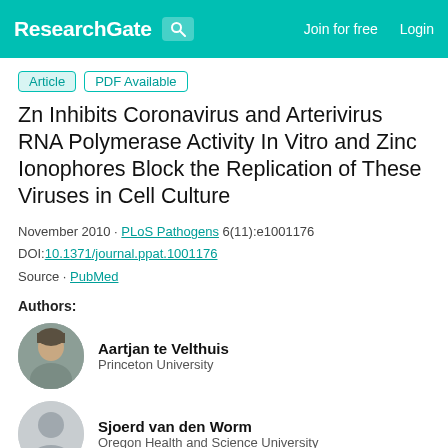ResearchGate  Join for free  Login
Article  PDF Available
Zn Inhibits Coronavirus and Arterivirus RNA Polymerase Activity In Vitro and Zinc Ionophores Block the Replication of These Viruses in Cell Culture
November 2010 · PLoS Pathogens 6(11):e1001176
DOI:10.1371/journal.ppat.1001176
Source · PubMed
Authors:
Aartjan te Velthuis
Princeton University
Sjoerd van den Worm
Oregon Health and Science University